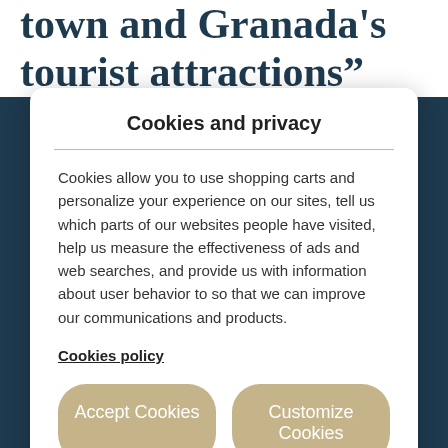stroll from the old town and Granada's tourist attractions”
Cookies and privacy
Cookies allow you to use shopping carts and personalize your experience on our sites, tell us which parts of our websites people have visited, help us measure the effectiveness of ads and web searches, and provide us with information about user behavior to so that we can improve our communications and products.
Cookies policy
Accept Cookies
Customize Cookies